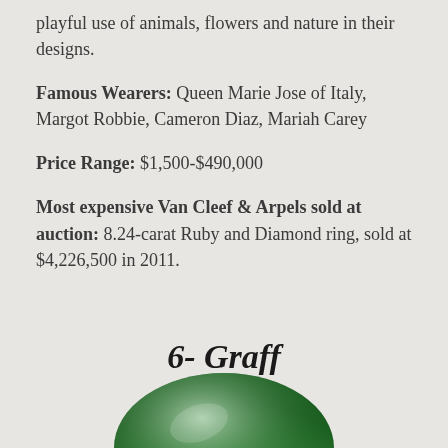playful use of animals, flowers and nature in their designs.
Famous Wearers: Queen Marie Jose of Italy, Margot Robbie, Cameron Diaz, Mariah Carey
Price Range: $1,500-$490,000
Most expensive Van Cleef & Arpels sold at auction: 8.24-carat Ruby and Diamond ring, sold at $4,226,500 in 2011.
6- Graff
[Figure (photo): Green circular jewelry piece, partially visible at bottom of page]